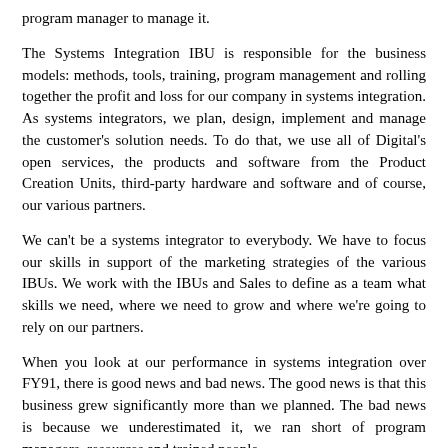program manager to manage it.
The Systems Integration IBU is responsible for the business models: methods, tools, training, program management and rolling together the profit and loss for our company in systems integration. As systems integrators, we plan, design, implement and manage the customer's solution needs. To do that, we use all of Digital's open services, the products and software from the Product Creation Units, third-party hardware and software and of course, our various partners.
We can't be a systems integrator to everybody. We have to focus our skills in support of the marketing strategies of the various IBUs. We work with the IBUs and Sales to define as a team what skills we need, where we need to grow and where we're going to rely on our partners.
When you look at our performance in systems integration over FY91, there is good news and bad news. The good news is that this business grew significantly more than we planned. The bad news is because we underestimated it, we ran short of program managers, resources and trained people.
In FY92, we plan to train hundreds more program managers and finish the roll-out of the Digital Program Methodology: one jargon